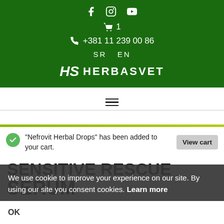HERBASVET — +381 11 239 00 86 — SR EN
☰
"Nefrovit Herbal Drops" has been added to your cart.
We use cookie to improve your experience on our site. By using our site you consent cookies. Learn more
SENSITIVE RESCUE SERUM